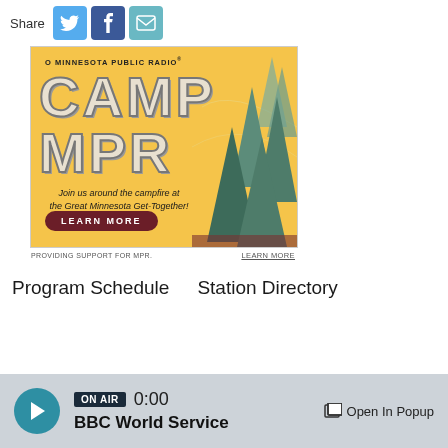Share
[Figure (illustration): Camp MPR advertisement for Minnesota Public Radio featuring retro camp style design with pine trees, text 'CAMP MPR', tagline 'Join us around the campfire at the Great Minnesota Get-Together!' and a Learn More button]
PROVIDING SUPPORT FOR MPR.
LEARN MORE
Program Schedule    Station Directory
ON AIR  0:00  BBC World Service  Open In Popup